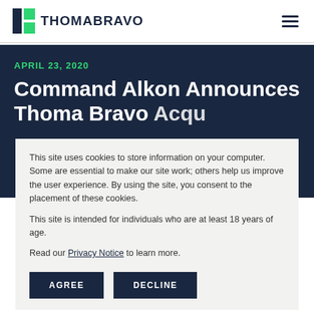THOMABRAVO
APRIL 23, 2020
Command Alkon Announces Thoma Bravo Acquisition in Com...
This site uses cookies to store information on your computer. Some are essential to make our site work; others help us improve the user experience. By using the site, you consent to the placement of these cookies.

This site is intended for individuals who are at least 18 years of age.

Read our Privacy Notice to learn more.